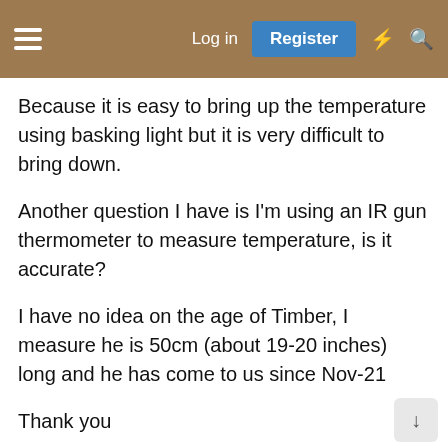Log in | Register
Because it is easy to bring up the temperature using basking light but it is very difficult to bring down.
Another question I have is I'm using an IR gun thermometer to measure temperature, is it accurate?
I have no idea on the age of Timber, I measure he is 50cm (about 19-20 inches) long and he has come to us since Nov-21
Thank you
RangoRocky
Juvie Member  Photo Comp Winner